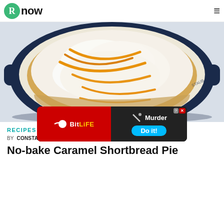Rnow
[Figure (photo): Overhead view of a caramel shortbread pie with whipped cream topping drizzled with caramel sauce in a dark blue cast iron dish on a white surface]
RECIPES
BY  CONSTANZA DE SOUSA- 28/01/2021 · 12:32 HS
No-bake Caramel Shortbread Pie
[Figure (other): BitLife advertisement banner: red left panel with BitLife logo and sperm icon, black right panel with Murder and Do it! text and close button]